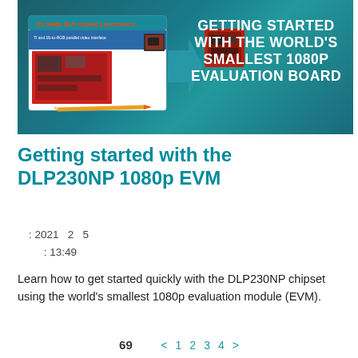[Figure (screenshot): Banner image showing a DLP230NP 1080p evaluation board screenshot on the left with an arrow pointing to a circuit board photo, and text on the right reading GETTING STARTED WITH THE WORLD'S SMALLEST 1080P EVALUATION BOARD on a teal background]
Getting started with the DLP230NP 1080p EVM
: 2021  2  5
: 13:49
Learn how to get started quickly with the DLP230NP chipset using the world's smallest 1080p evaluation module (EVM).
69  <  1  2  3  4  >